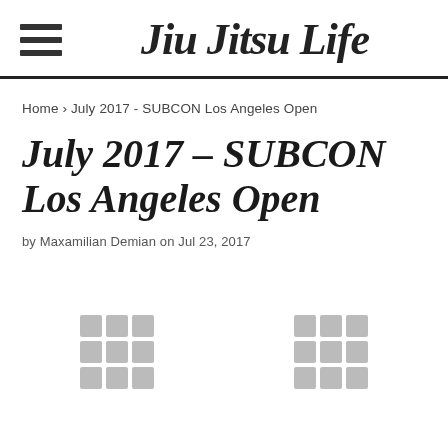Jiu Jitsu Life
Home › July 2017 - SUBCON Los Angeles Open
July 2017 - SUBCON Los Angeles Open
by Maxamilian Demian on Jul 23, 2017
[Figure (other): Two placeholder image grid thumbnails]
[Figure (other): Two placeholder image grid thumbnails]